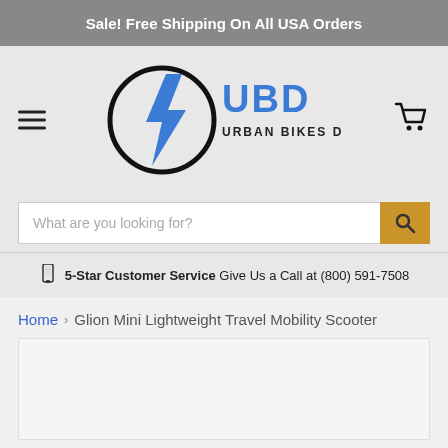Sale! Free Shipping On All USA Orders
[Figure (logo): Urban Bikes Direct (UBD) logo with lightning bolt in circle and blue UBD letters]
What are you looking for?
5-Star Customer Service Give Us a Call at (800) 591-7508
Home > Glion Mini Lightweight Travel Mobility Scooter
[Figure (photo): Product image area (empty/placeholder)]